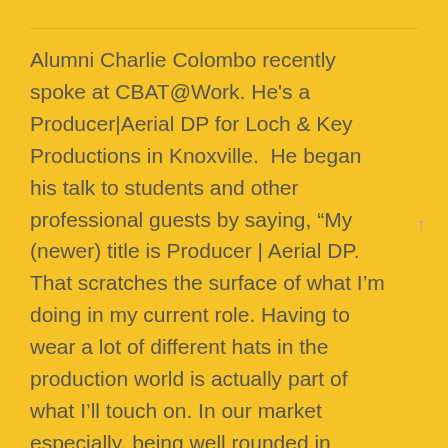Alumni Charlie Colombo recently spoke at CBAT@Work. He's a Producer|Aerial DP for Loch & Key Productions in Knoxville.  He began his talk to students and other professional guests by saying, “My (newer) title is Producer | Aerial DP. That scratches the surface of what I’m doing in my current role. Having to wear a lot of different hats in the production world is actually part of what I’ll touch on. In our market especially, being well rounded in multiple aspects of production provides great job opportunities.” Different from a traditional career fair, CBAT@Work facilitates student and employer networking through a conference social